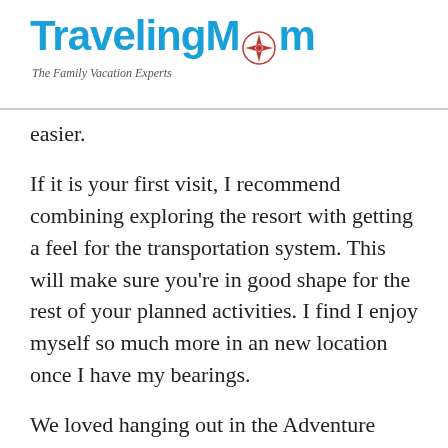TravelingMom — The Family Vacation Experts
easier.
If it is your first visit, I recommend combining exploring the resort with getting a feel for the transportation system. This will make sure you're in good shape for the rest of your planned activities. I find I enjoy myself so much more in an new location once I have my bearings.
We loved hanging out in the Adventure Center located just behind Keystone Lodge. If you ice skate on Keystone Lake or do one of the Sleigh Ride Dinners, this is where you'll check in. The Adventure Center has a bar and tables and offers a really fun, cozy atmosphere. My son and I spent some quiet time in here during a break and it was a nice...